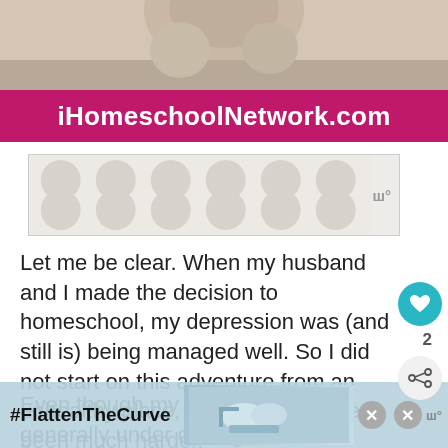[Figure (photo): Top portion of a photo showing a person, cropped at shoulders/head area with soft beige/tan tones]
iHomeschoolNetwork.com
[Figure (other): Advertisement placeholder with circular dot pattern on grey background and small logo mark]
Let me be clear. When my husband and I made the decision to homeschool, my depression was (and still is) being managed well. So I did not start on this adventure from an unhealthy place, which would have been much harder.
Even though my depression is generally under control right now, it's always lurking under the surface, always wa...
[Figure (other): Bottom banner advertisement with #FlattenTheCurve hashtag and hand washing imagery]